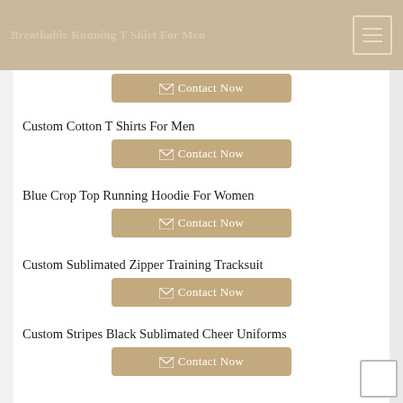Breathable Running T Shirt For Men
Contact Now
Custom Cotton T Shirts For Men
Contact Now
Blue Crop Top Running Hoodie For Women
Contact Now
Custom Sublimated Zipper Training Tracksuit
Contact Now
Custom Stripes Black Sublimated Cheer Uniforms
Contact Now